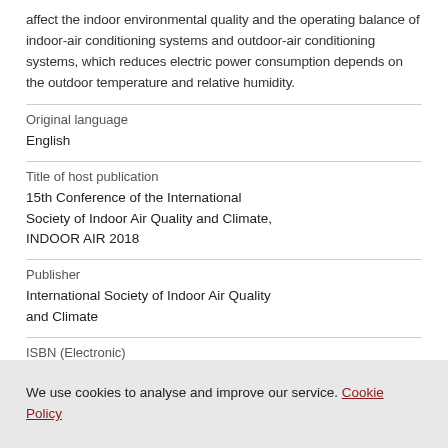affect the indoor environmental quality and the operating balance of indoor-air conditioning systems and outdoor-air conditioning systems, which reduces electric power consumption depends on the outdoor temperature and relative humidity.
Original language
English
Title of host publication
15th Conference of the International Society of Indoor Air Quality and Climate, INDOOR AIR 2018
Publisher
International Society of Indoor Air Quality and Climate
ISBN (Electronic)
We use cookies to analyse and improve our service. Cookie Policy